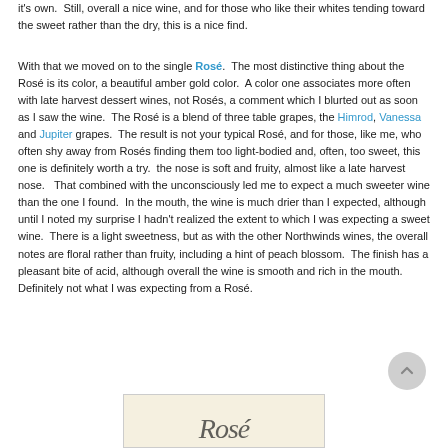it's own.  Still, overall a nice wine, and for those who like their whites tending toward the sweet rather than the dry, this is a nice find.
With that we moved on to the single Rosé.  The most distinctive thing about the Rosé is its color, a beautiful amber gold color.  A color one associates more often with late harvest dessert wines, not Rosés, a comment which I blurted out as soon as I saw the wine.  The Rosé is a blend of three table grapes, the Himrod, Vanessa and Jupiter grapes.  The result is not your typical Rosé, and for those, like me, who often shy away from Rosés finding them too light-bodied and, often, too sweet, this one is definitely worth a try.  the nose is soft and fruity, almost like a late harvest nose.   That combined with the unconsciously led me to expect a much sweeter wine than the one I found.  In the mouth, the wine is much drier than I expected, although until I noted my surprise I hadn't realized the extent to which I was expecting a sweet wine.  There is a light sweetness, but as with the other Northwinds wines, the overall notes are floral rather than fruity, including a hint of peach blossom.  The finish has a pleasant bite of acid, although overall the wine is smooth and rich in the mouth.  Definitely not what I was expecting from a Rosé.
[Figure (photo): Partial image of a wine label or handwritten script at the bottom of the page]